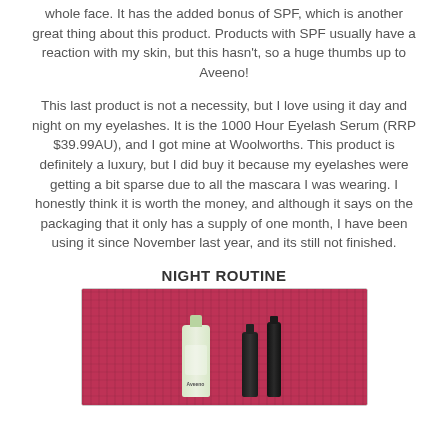whole face. It has the added bonus of SPF, which is another great thing about this product. Products with SPF usually have a reaction with my skin, but this hasn't, so a huge thumbs up to Aveeno!
This last product is not a necessity, but I love using it day and night on my eyelashes. It is the 1000 Hour Eyelash Serum (RRP $39.99AU), and I got mine at Woolworths. This product is definitely a luxury, but I did buy it because my eyelashes were getting a bit sparse due to all the mascara I was wearing. I honestly think it is worth the money, and although it says on the packaging that it only has a supply of one month, I have been using it since November last year, and its still not finished.
NIGHT ROUTINE
[Figure (photo): Photo of skincare products arranged on a pink/red towel: a white bottle (Aveeno), two dark bottles, on a pink background]